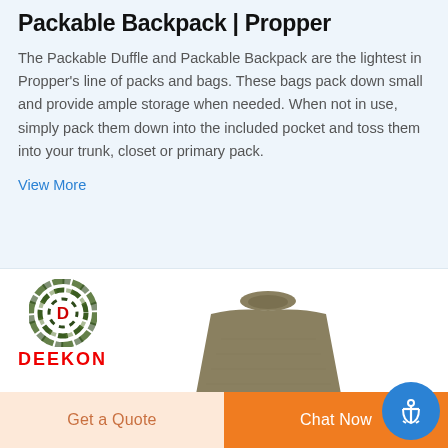Packable Backpack | Propper
The Packable Duffle and Packable Backpack are the lightest in Propper's line of packs and bags. These bags pack down small and provide ample storage when needed. When not in use, simply pack them down into the included pocket and toss them into your trunk, closet or primary pack.
View More
[Figure (logo): Deekon brand logo: circular camo pattern with red D in center, and DEEKON text in red below]
[Figure (photo): Olive/tan colored military-style mock turtleneck shirt, cropped view showing collar and upper chest area]